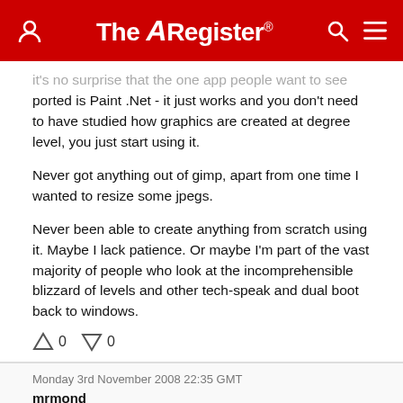The Register
ported is Paint .Net - it just works and you don't need to have studied how graphics are created at degree level, you just start using it.

Never got anything out of gimp, apart from one time I wanted to resize some jpegs.

Never been able to create anything from scratch using it. Maybe I lack patience. Or maybe I'm part of the vast majority of people who look at the incomprehensible blizzard of levels and other tech-speak and dual boot back to windows.
↑0  ↓0
Monday 3rd November 2008 22:35 GMT
mrmond
Report abuse
all well & good